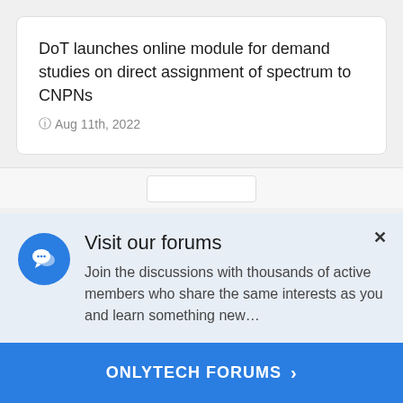DoT launches online module for demand studies on direct assignment of spectrum to CNPNs
© Aug 11th, 2022
Visit our forums
Join the discussions with thousands of active members who share the same interests as you and learn something new…
ONLYTECH FORUMS >